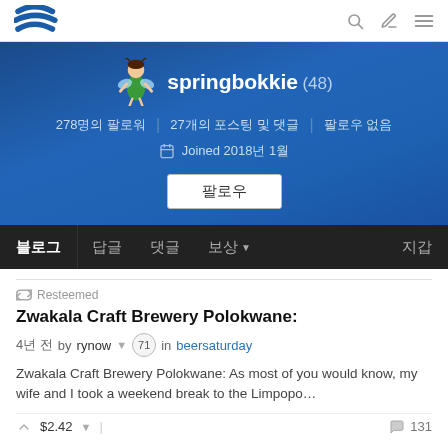Steem navigation bar with logo, search, edit, and menu icons
[Figure (screenshot): Springbokkie Steem user profile header with avatar, name (48), stats: 278명의 팔로워, 27개의 포스팅 및 댓글, 팔로우 없음, Joined 2018년 1월, 팔로우 button]
블로그 | 답글 | 댓글 | 보상 ▾ | 지갑 tab bar
Resteemed
Zwakala Craft Brewery Polokwane:
4년 전 by rynow ▾ (71) in beersaturday
Zwakala Craft Brewery Polokwane: As most of you would know, my wife and I took a weekend break to the Limpopo…
$2.42 ▾ | 131